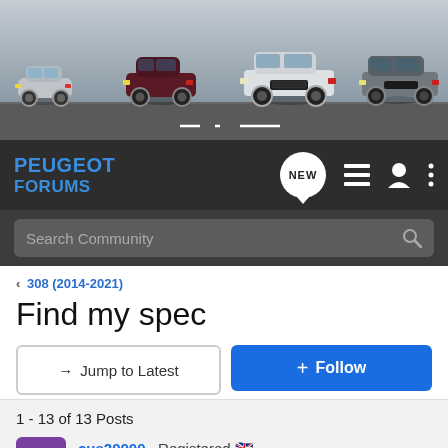[Figure (photo): Peugeot banner image with four Peugeot car models lined up on a road with a grey sky background]
PEUGEOT FORUMS
Search Community
308 (2014-2021)
Find my spec
→ Jump to Latest
+ Follow
1 - 13 of 13 Posts
cus20000 · Registered 🇬🇧 Joined Apr 22, 2017 · 9 Posts